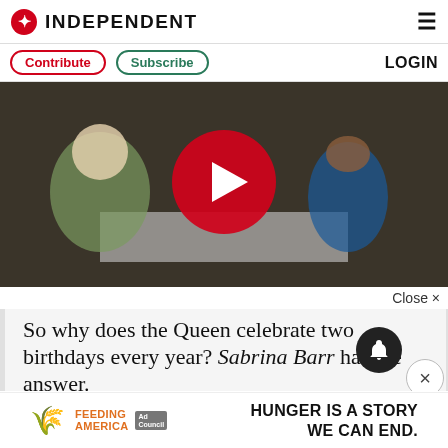INDEPENDENT
Contribute   Subscribe   LOGIN
[Figure (photo): Video thumbnail showing Queen Elizabeth II and Paddington Bear seated at a table with a red play button overlay]
Close ×
So why does the Queen celebrate two birthdays every year? Sabrina Barr has the answer.
[Figure (infographic): Feeding America ad banner: HUNGER IS A STORY WE CAN END.]